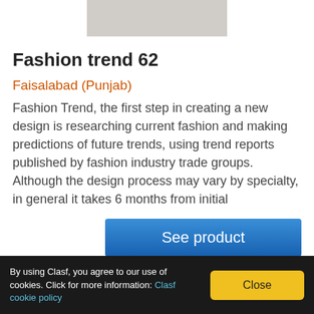[Figure (photo): Gray rectangular image placeholder at top center]
Fashion trend 62
Faisalabad (Punjab)
Fashion Trend, the first step in creating a new design is researching current fashion and making predictions of future trends, using trend reports published by fashion industry trade groups. Although the design process may vary by specialty, in general it takes 6 months from initial
[Figure (other): See product button — blue gradient button with white text]
By using Clasf, you agree to our use of cookies. Click for more information: Clasf cookie policy